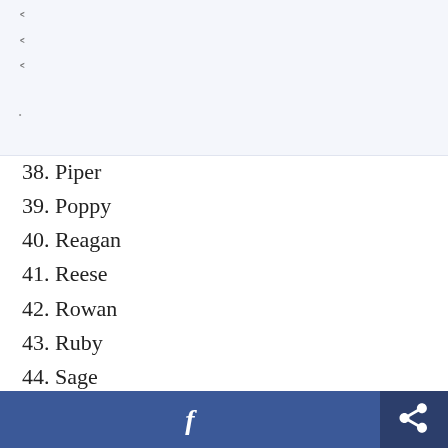38. Piper
39. Poppy
40. Reagan
41. Reese
42. Rowan
43. Ruby
44. Sage
45. Shea
46. Skyla
47. Stella
f  [share]